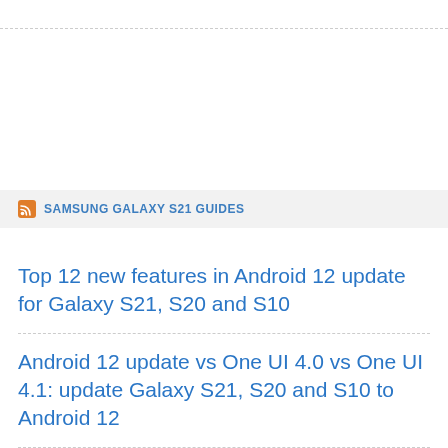SAMSUNG GALAXY S21 GUIDES
Top 12 new features in Android 12 update for Galaxy S21, S20 and S10
Android 12 update vs One UI 4.0 vs One UI 4.1: update Galaxy S21, S20 and S10 to Android 12
How to set and resize photo size on Samsung Galaxy S21, S20, S10, and S9 without using any third-party apps?